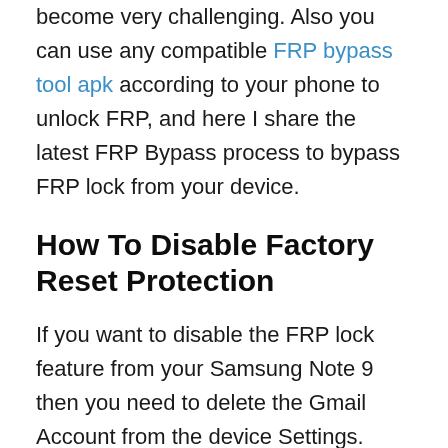become very challenging. Also you can use any compatible FRP bypass tool apk according to your phone to unlock FRP, and here I share the latest FRP Bypass process to bypass FRP lock from your device.
How To Disable Factory Reset Protection
If you want to disable the FRP lock feature from your Samsung Note 9 then you need to delete the Gmail Account from the device Settings. follow the below process completely to disable the Factory Reset Protection successfully: go to the settings